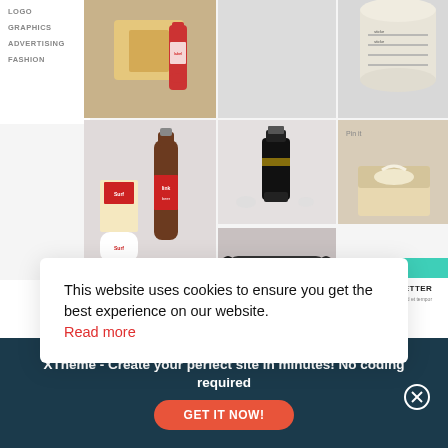LOGO
GRAPHICS
ADVERTISING
FASHION
[Figure (photo): Portfolio grid showing product packaging photos: beer bottles with labels, perfume/liquor bottle, product tubes/cylinders, label roll, tissue box, and other packaged goods]
This website uses cookies to ensure you get the best experience on our website. Read more
[Figure (screenshot): Partial newsletter signup section with teal background partially visible on right side]
XTheme - Create your perfect site in minutes! No coding required
GET IT NOW!